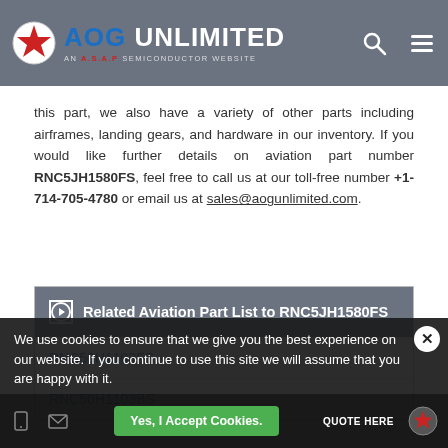AOG UNLIMITED — AN A.S.A.P SEMICONDUCTOR WEBSITE
this part, we also have a variety of other parts including airframes, landing gears, and hardware in our inventory. If you would like further details on aviation part number RNC5JH1580FS, feel free to call us at our toll-free number +1-714-705-4780 or email us at sales@aogunlimited.com.
Related Aviation Part List to RNC5JH1580FS
RNC50H1103FS
RNC50H1103BS
We use cookies to ensure that we give you the best experience on our website. If you continue to use this site we will assume that you are happy with it.